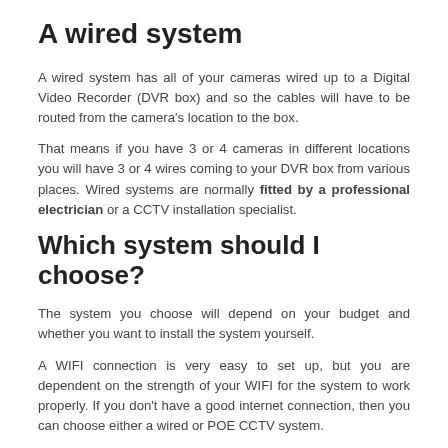A wired system
A wired system has all of your cameras wired up to a Digital Video Recorder (DVR box) and so the cables will have to be routed from the camera's location to the box.
That means if you have 3 or 4 cameras in different locations you will have 3 or 4 wires coming to your DVR box from various places. Wired systems are normally fitted by a professional electrician or a CCTV installation specialist.
Which system should I choose?
The system you choose will depend on your budget and whether you want to install the system yourself.
A WIFI connection is very easy to set up, but you are dependent on the strength of your WIFI for the system to work properly. If you don't have a good internet connection, then you can choose either a wired or POE CCTV system.
For example, a POE CCTV system doesn't need a